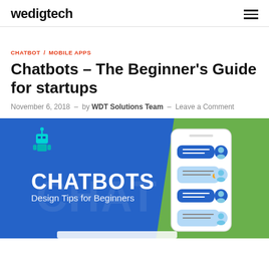wedigtech
CHATBOT / MOBILE APPS
Chatbots – The Beginner's Guide for startups
November 6, 2018 – by WDT Solutions Team – Leave a Comment
[Figure (illustration): Blog hero image showing CHATBOTS Design Tips for Beginners with a blue and green background, a robot icon, a smartphone with chat bubbles, and user avatars with message bubbles.]